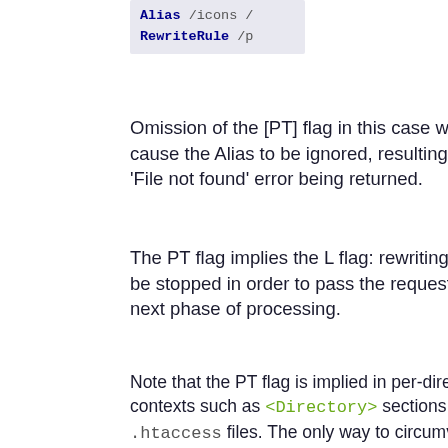[Figure (screenshot): Code block showing 'Alias /icons' and 'RewriteRule /p' on dark background]
Omission of the [PT] flag in this case will cause the Alias to be ignored, resulting in a 'File not found' error being returned.
The PT flag implies the L flag: rewriting will be stopped in order to pass the request to the next phase of processing.
Note that the PT flag is implied in per-directory contexts such as <Directory> sections or in .htaccess files. The only way to circumvent that is to rewrite to -.